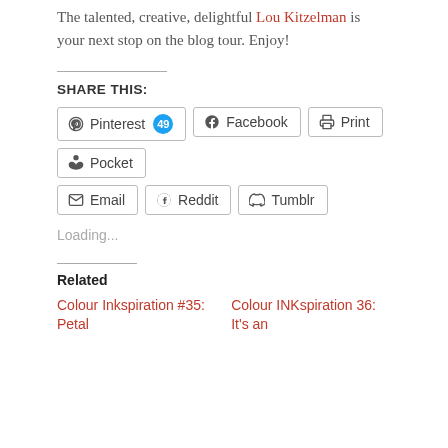The talented, creative, delightful Lou Kitzelman is your next stop on the blog tour. Enjoy!
Share this:
Pinterest 49
Facebook
Print
Pocket
Email
Reddit
Tumblr
Loading...
Related
Colour Inkspiration #35: Petal
Colour INKspiration 36: It's an